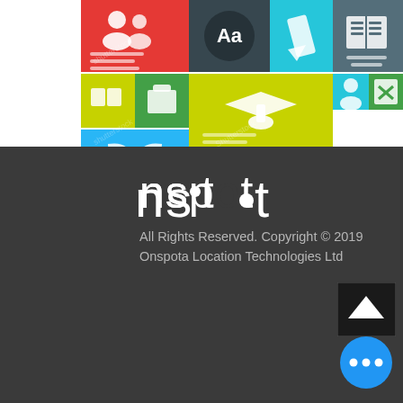[Figure (screenshot): Colorful flat UI tile grid showing education/learning app icons including people, text, pencil, book, graduation cap, profile, clipboard with X, open book, and quill/feather icons on colored tiles (red, teal, yellow-green, blue, green, red, yellow)]
[Figure (logo): nspot logo in white text on dark gray background, with a filled circle replacing the letter 'o']
All Rights Reserved. Copyright © 2019 Onspota Location Technologies Ltd
[Figure (screenshot): Dark back-to-top arrow button (chevron up) in bottom right corner]
[Figure (screenshot): Blue circular floating action button with three dots (ellipsis) in white]